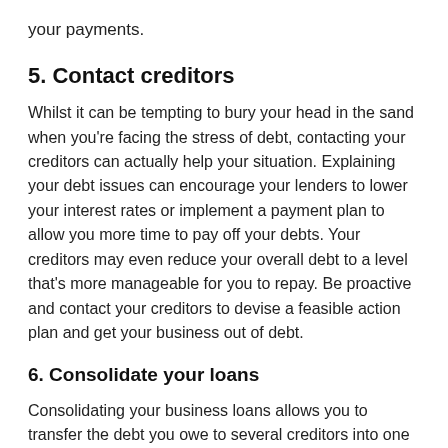your payments.
5. Contact creditors
Whilst it can be tempting to bury your head in the sand when you're facing the stress of debt, contacting your creditors can actually help your situation. Explaining your debt issues can encourage your lenders to lower your interest rates or implement a payment plan to allow you more time to pay off your debts. Your creditors may even reduce your overall debt to a level that's more manageable for you to repay. Be proactive and contact your creditors to devise a feasible action plan and get your business out of debt.
6. Consolidate your loans
Consolidating your business loans allows you to transfer the debt you owe to several creditors into one single long-term